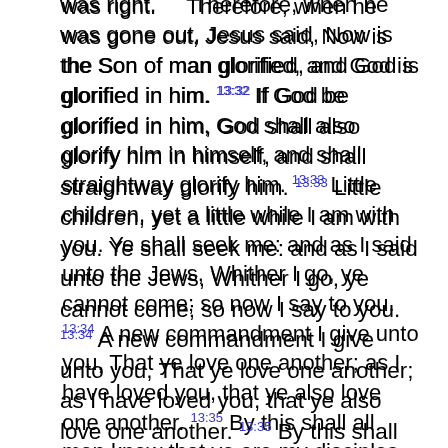was night. Therefore, when he was gone out, Jesus said, Now is the Son of man glorified, and God is glorified in him. 13:32 If God be glorified in him, God shall also glorify him in himself, and shall straightway glorify him. 13:33 Little children, yet a little while I am with you. Ye shall seek me: and as I said unto the Jews, Whither I go, ye cannot come; so now I say to you. 13:34 A new commandment I give unto you, That ye love one another; as I have loved you, that ye also love one another. 13:35 By this shall all men know that ye are my disciples, if ye have love one to another. 13:36 Simon Peter said unto him, Lord, whither goest thou? Jesus answered him, Whither I go, thou canst not follow me now; but thou shalt follow me afterwards. 13:37 Peter said unto him, Lord, why cannot I follow thee now? I will lay down my life for thy sake. 13:38 Jesus answered him, Wilt thou lay down thy life for my sake? Verily, verily, I say unto thee, The cock shall not crow, till thou hast denied me thrice.
14:1 Let not your heart be troubled: ye believe in God, believe also in me. 14:2 In my Father's house are many mansions: if it were not so, I would have told you. I go to prepare a place for you. 14:3 And if I go and prepare a place for you, I will come again, and receive you unto